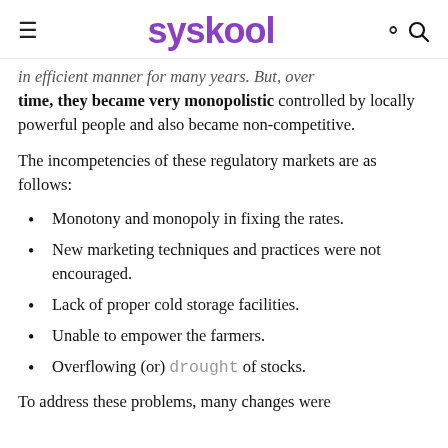syskool
in efficient manner for many years. But, over time, they became very monopolistic controlled by locally powerful people and also became non-competitive.
The incompetencies of these regulatory markets are as follows:
Monotony and monopoly in fixing the rates.
New marketing techniques and practices were not encouraged.
Lack of proper cold storage facilities.
Unable to empower the farmers.
Overflowing (or) drought of stocks.
To address these problems, many changes were